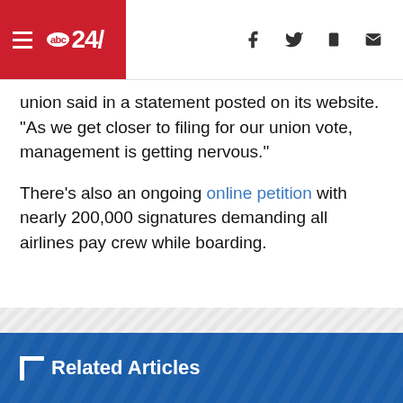abc24/
union said in a statement posted on its website. “As we get closer to filing for our union vote, management is getting nervous.”
There’s also an ongoing online petition with nearly 200,000 signatures demanding all airlines pay crew while boarding.
[Figure (other): Advertisement placeholder with diagonal stripe pattern]
The Associated Press contributed to this report
Related Articles